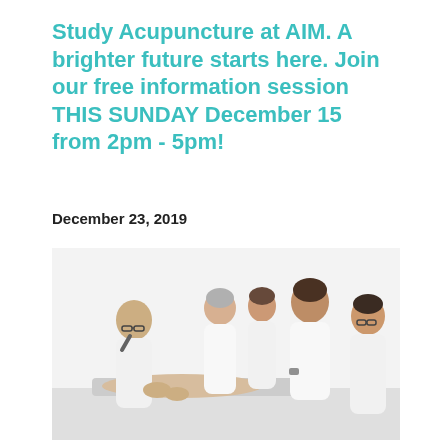Study Acupuncture at AIM. A brighter future starts here. Join our free information session THIS SUNDAY December 15 from 2pm - 5pm!
December 23, 2019
[Figure (photo): Five people in white lab coats gathered around a patient on a table, with one practitioner demonstrating acupuncture technique on the patient's back while others observe.]